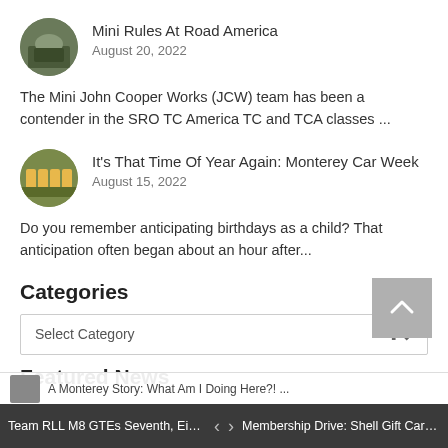Mini Rules At Road America — August 20, 2022
The Mini John Cooper Works (JCW) team has been a contender in the SRO TC America TC and TCA classes ...
It's That Time Of Year Again: Monterey Car Week — August 15, 2022
Do you remember anticipating birthdays as a child? That anticipation often began about an hour after...
Categories
Select Category
Featured News
Team RLL M8 GTEs Seventh, Eigh... < > Membership Drive: Shell Gift Card ... A Monterey Story: What Am I Doing Here?! ...